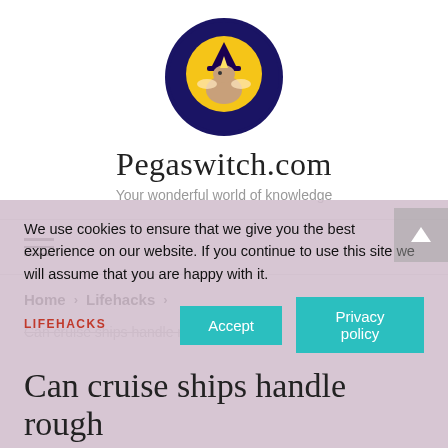[Figure (logo): Circular logo with dark navy blue border, yellow moon background, and a cartoon pegasus/unicorn wearing a witch hat]
Pegaswitch.com
Your wonderful world of knowledge
[Figure (other): Hamburger menu icon with three horizontal lines]
Home > Lifehacks >
Can cruise ships handle rough seas?
We use cookies to ensure that we give you the best experience on our website. If you continue to use this site we will assume that you are happy with it.
LIFEHACKS
Can cruise ships handle rough
Accept
Privacy policy